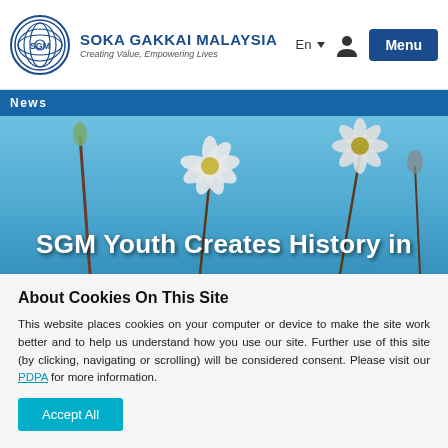SOKA GAKKAI MALAYSIA — Creating Value, Empowering Lives | En | Menu
News
[Figure (photo): Hero image of wildflowers against a blue sky with the text 'SGM Youth Creates History in' overlaid in bold white.]
SGM Youth Creates History in
About Cookies On This Site
This website places cookies on your computer or device to make the site work better and to help us understand how you use our site. Further use of this site (by clicking, navigating or scrolling) will be considered consent. Please visit our PDPA for more information.
Accept All